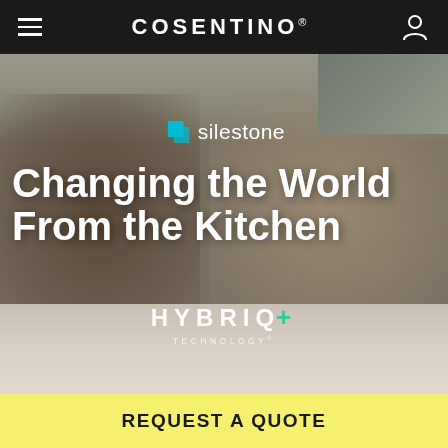COSENTINO
[Figure (photo): Two children working at a kitchen counter with rocks and a microscope on a white marble-effect surface. Kitchen utensils and shelves visible in background. Silestone and HybriQ+ Technology logos overlaid on image.]
Changing the World From the Kitchen
silestone
HYBRIQ+ TECHNOLOGY
REQUEST A QUOTE